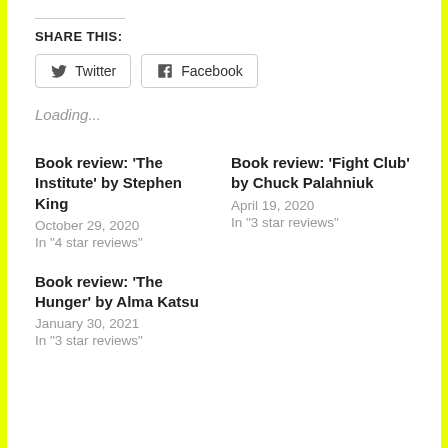SHARE THIS:
Twitter  Facebook
Loading...
Book review: ‘The Institute’ by Stephen King
October 29, 2020
In "4 star reviews"
Book review: ‘Fight Club’ by Chuck Palahniuk
April 19, 2020
In "3 star reviews"
Book review: ‘The Hunger’ by Alma Katsu
January 30, 2021
In "3 star reviews"